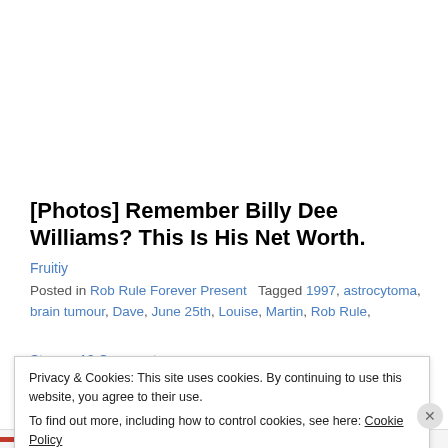[Photos] Remember Billy Dee Williams? This Is His Net Worth.
Fruitiy
Posted in Rob Rule Forever Present   Tagged 1997, astrocytoma, brain tumour, Dave, June 25th, Louise, Martin, Rob Rule, Steven   10 Comments
Privacy & Cookies: This site uses cookies. By continuing to use this website, you agree to their use.
To find out more, including how to control cookies, see here: Cookie Policy
Close and accept